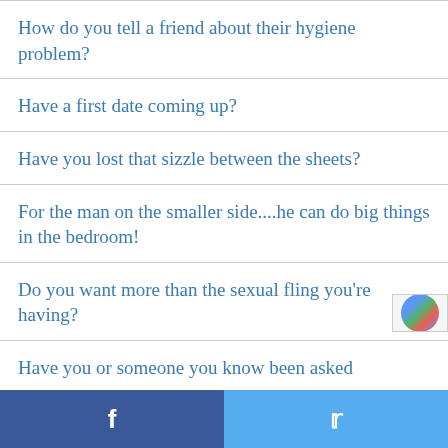How do you tell a friend about their hygiene problem?
Have a first date coming up?
Have you lost that sizzle between the sheets?
For the man on the smaller side....he can do big things in the bedroom!
Do you want more than the sexual fling you're having?
Have you or someone you know been asked
Facebook | Twitter